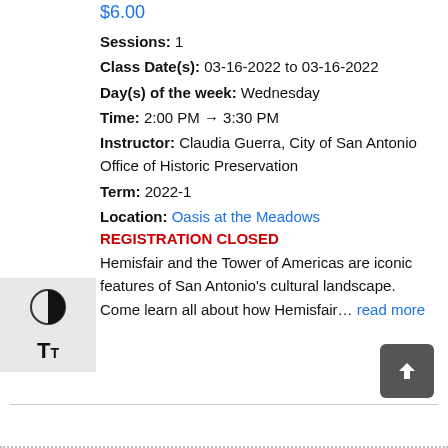$6.00
Sessions: 1
Class Date(s): 03-16-2022 to 03-16-2022
Day(s) of the week: Wednesday
Time: 2:00 PM → 3:30 PM
Instructor: Claudia Guerra, City of San Antonio Office of Historic Preservation
Term: 2022-1
Location: Oasis at the Meadows
REGISTRATION CLOSED
Hemisfair and the Tower of Americas are iconic features of San Antonio's cultural landscape. Come learn all about how Hemisfair… read more